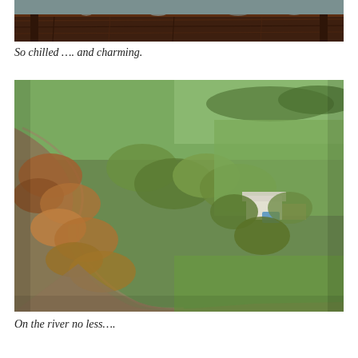[Figure (photo): Top portion of a wooden table with items on it, dark wood furniture against a grey-green background, cropped to show just the tabletop area.]
So chilled …. and charming.
[Figure (photo): Aerial drone photograph of a country property on a river bend, showing a winding muddy river flanked by autumn trees, green paddocks, and a white homestead with a swimming pool visible among the trees in the upper right area.]
On the river no less….